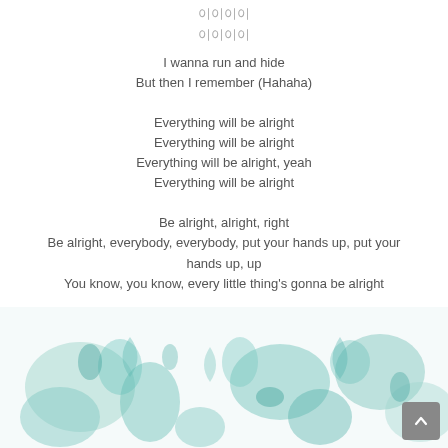이이이이
이이이이
I wanna run and hide
But then I remember (Hahaha)
Everything will be alright
Everything will be alright
Everything will be alright, yeah
Everything will be alright
Be alright, alright, right
Be alright, everybody, everybody, put your hands up, put your hands up, up
You know, you know, every little thing's gonna be alright
[Figure (photo): Teal and green watercolor floral or abstract paint splotches on white background, partial view at bottom of page]